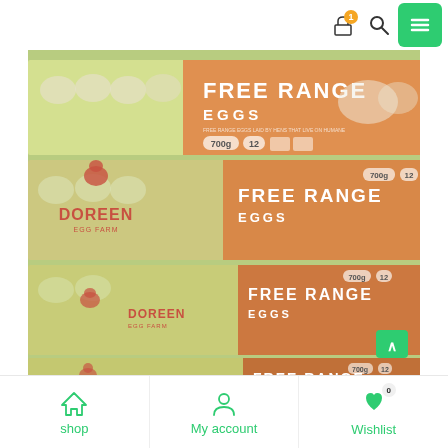Navigation bar with cart (1 item), search, and menu buttons
[Figure (photo): Stacked Doreen Egg Farm Free Range Eggs cartons (700g, 12 eggs) arranged in multiple rows, showing light green packaging with orange label strips bearing 'FREE RANGE EGGS 700g 12' text, and the Doreen Egg Farm logo with a red chicken]
shop | My account | Wishlist (0)